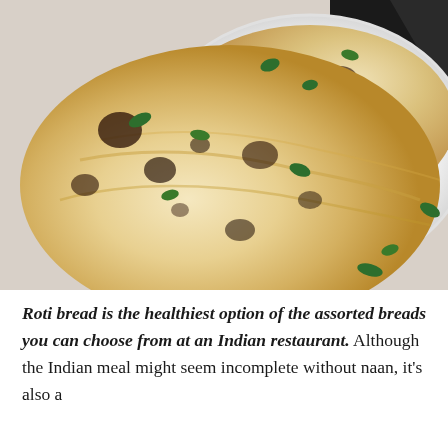[Figure (photo): Close-up photo of naan/roti bread with char marks and green herb leaves (cilantro/coriander) on top, served on a white plate with a dark napkin in the background]
Roti bread is the healthiest option of the assorted breads you can choose from at an Indian restaurant. Although the Indian meal might seem incomplete without naan, it's also a